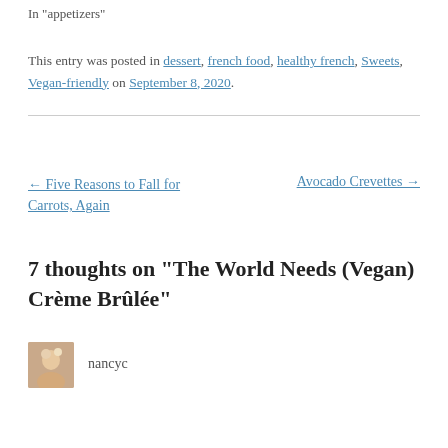In "appetizers"
This entry was posted in dessert, french food, healthy french, Sweets, Vegan-friendly on September 8, 2020.
← Five Reasons to Fall for Carrots, Again
Avocado Crevettes →
7 thoughts on “The World Needs (Vegan) Crème Brûlée”
nancyc